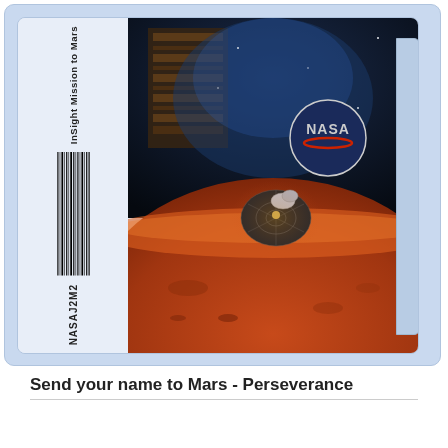[Figure (illustration): NASA boarding pass / ticket card for InSight Mission to Mars. Left side has a barcode with text 'InSight Mission to Mars' and 'NASAJ2M2'. Right side shows an artistic rendering of a spacecraft approaching Mars with NASA logo visible, and a blue-toned space station interior in the upper portion.]
Send your name to Mars - Perseverance